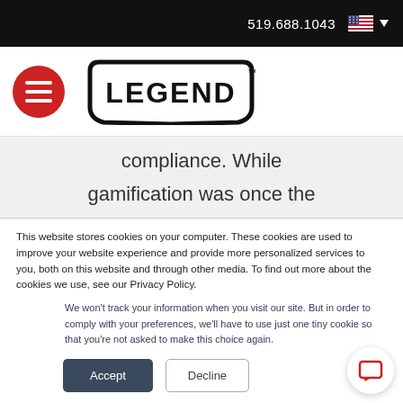519.688.1043
[Figure (logo): Legend brand logo with hamburger menu icon in red circle]
compliance. While
gamification was once the
This website stores cookies on your computer. These cookies are used to improve your website experience and provide more personalized services to you, both on this website and through other media. To find out more about the cookies we use, see our Privacy Policy.
We won't track your information when you visit our site. But in order to comply with your preferences, we'll have to use just one tiny cookie so that you're not asked to make this choice again.